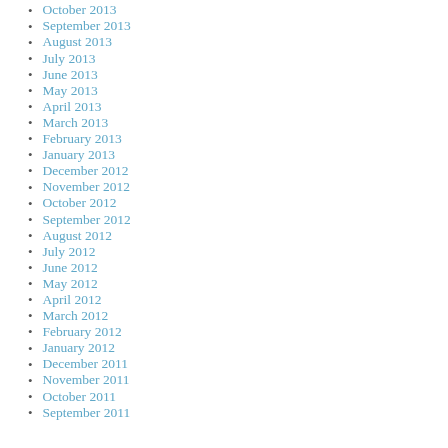October 2013
September 2013
August 2013
July 2013
June 2013
May 2013
April 2013
March 2013
February 2013
January 2013
December 2012
November 2012
October 2012
September 2012
August 2012
July 2012
June 2012
May 2012
April 2012
March 2012
February 2012
January 2012
December 2011
November 2011
October 2011
September 2011